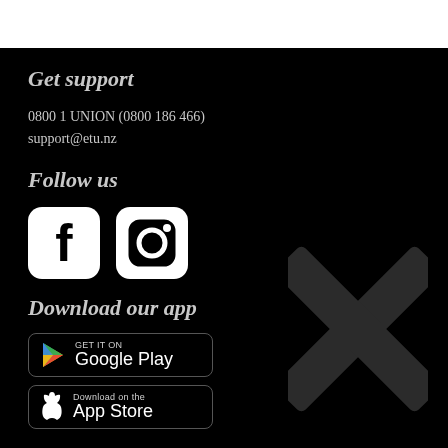Get support
0800 1 UNION (0800 186 466)
support@etu.nz
Follow us
[Figure (logo): Facebook and Instagram social media icons (white rounded square icons on black background)]
Download our app
[Figure (logo): Google Play store badge - GET IT ON Google Play]
[Figure (logo): Apple App Store badge - Download on the App Store]
[Figure (illustration): Grey X/cross watermark shape in bottom right corner]